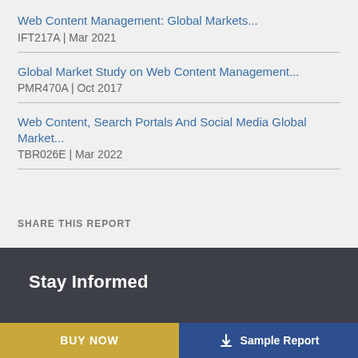Web Content Management: Global Markets...
IFT217A | Mar 2021
Global Market Study on Web Content Management...
PMR470A | Oct 2017
Web Content, Search Portals And Social Media Global Market...
TBR026E | Mar 2022
SHARE THIS REPORT
Stay Informed
BUY NOW
Sample Report